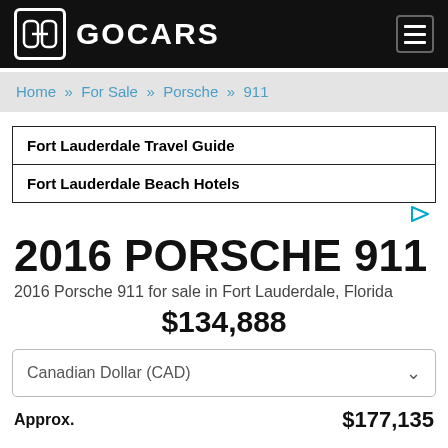GOCARS
Home » For Sale » Porsche » 911
[Figure (other): Advertisement block with two text links: 'Fort Lauderdale Travel Guide' and 'Fort Lauderdale Beach Hotels']
2016 PORSCHE 911
2016 Porsche 911 for sale in Fort Lauderdale, Florida
$134,888
Canadian Dollar (CAD)
Approx.  $177,135